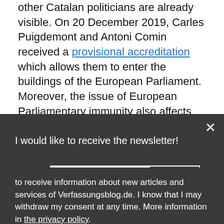other Catalan politicians are already visible. On 20 December 2019, Carles Puigdemont and Antoni Comin received a provisional accreditation which allows them to enter the buildings of the European Parliament. Moreover, the issue of European Parliamentary immunity also affects the pending European Arrest Warrant (EAW) procedure against the two Catalan politicians in...
I would like to receive the newsletter!
to receive information about new articles and services of Verfassungsblog.de. I know that I may withdraw my consent at any time. More information in the privacy policy.